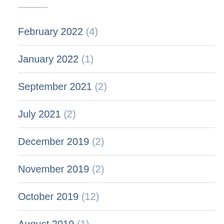February 2022 (4)
January 2022 (1)
September 2021 (2)
July 2021 (2)
December 2019 (2)
November 2019 (2)
October 2019 (12)
August 2019 (1)
July 2019 (1)